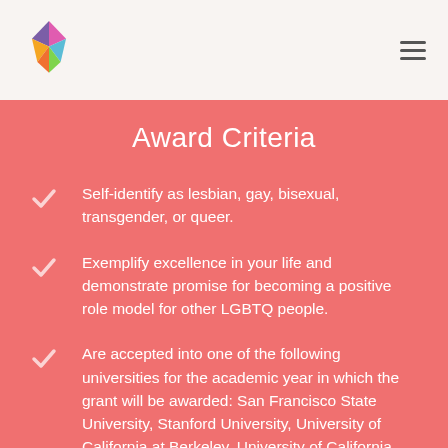Award Criteria
Self-identify as lesbian, gay, bisexual, transgender, or queer.
Exemplify excellence in your life and demonstrate promise for becoming a positive role model for other LGBTQ people.
Are accepted into one of the following universities for the academic year in which the grant will be awarded: San Francisco State University, Stanford University, University of California at Berkeley, University of California, San Francisco, or University of California, Hastings College of the Law. Students